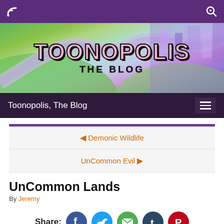Toonopolis, The Blog — top navigation bar with RSS and search icons
[Figure (illustration): Toonopolis The Blog banner with colorful cartoon road/landscape background and stylized logo text]
Toonopolis, The Blog — site title bar with hamburger menu
◀ Demonic Wildlife
UnCommon Evil ▶
UnCommon Lands
By Jeremy
Share: [Facebook] [Twitter] [Email] [Tumblr] [Pinterest]